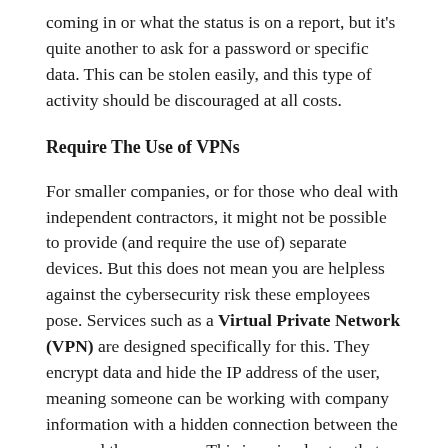coming in or what the status is on a report, but it's quite another to ask for a password or specific data. This can be stolen easily, and this type of activity should be discouraged at all costs.
Require The Use of VPNs
For smaller companies, or for those who deal with independent contractors, it might not be possible to provide (and require the use of) separate devices. But this does not mean you are helpless against the cybersecurity risk these employees pose. Services such as a Virtual Private Network (VPN) are designed specifically for this. They encrypt data and hide the IP address of the user, meaning someone can be working with company information with a hidden connection between the user and the company. This is a simple step that goes a long way towards keeping sensitive data safe from those interested in